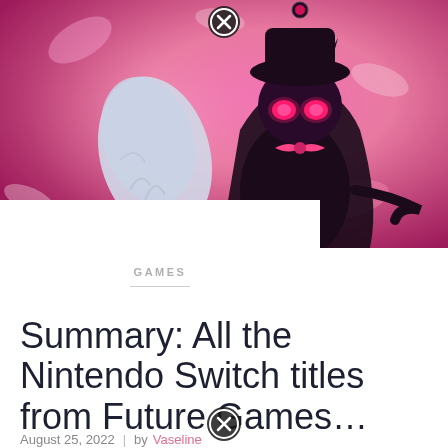[Figure (illustration): Pink-themed video game artwork showing a dark cartoon character with glowing pink eyes, horns, and a bow, set against a vibrant pink floral background. A close button (X in circle) appears at the top center.]
GAMES
Summary: All the Nintendo Switch titles from Future Games…
August 25, 2022  |  by Vaseline